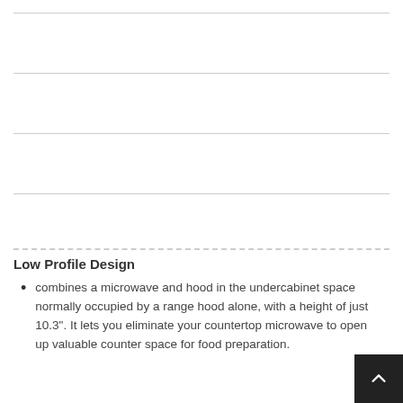Low Profile Design
combines a microwave and hood in the undercabinet space normally occupied by a range hood alone, with a height of just 10.3". It lets you eliminate your countertop microwave to open up valuable counter space for food preparation.